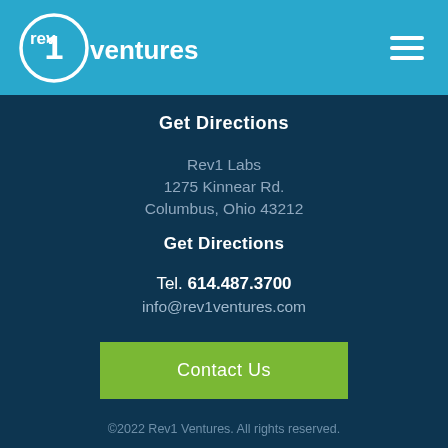[Figure (logo): Rev1 Ventures logo in white on blue header background]
Get Directions
Rev1 Labs
1275 Kinnear Rd.
Columbus, Ohio 43212
Get Directions
Tel. 614.487.3700
info@rev1ventures.com
Contact Us
©2022 Rev1 Ventures. All rights reserved.